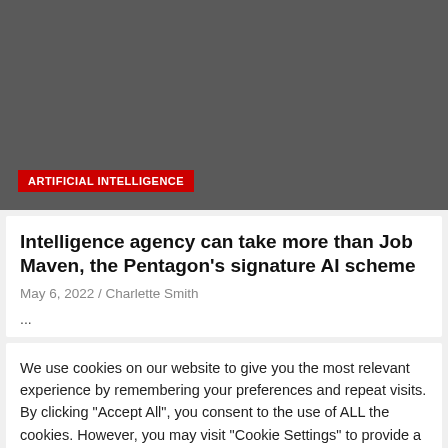[Figure (photo): Dark gray image placeholder block for a news article about AI and the Pentagon]
ARTIFICIAL INTELLIGENCE
Intelligence agency can take more than Job Maven, the Pentagon's signature AI scheme
May 6, 2022 / Charlette Smith
...
We use cookies on our website to give you the most relevant experience by remembering your preferences and repeat visits. By clicking "Accept All", you consent to the use of ALL the cookies. However, you may visit "Cookie Settings" to provide a controlled consent.